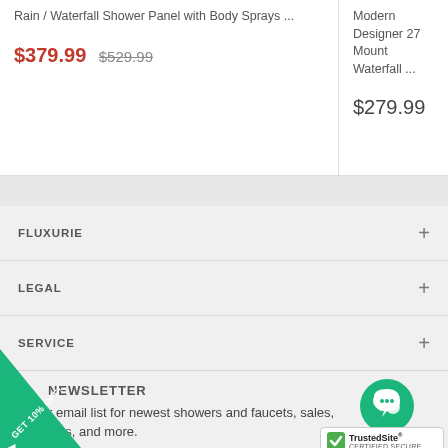Rain / Waterfall Shower Panel with Body Sprays ...
$379.99  $529.99
Modern Designer 27 Mount Waterfall ...
$279.99
FLUXURIE
LEGAL
SERVICE
NEWSLETTER
r email list for newest showers and faucets, sales, ides, and more.
[Figure (logo): GET 10% OFF! green diagonal badge in bottom-left corner]
[Figure (illustration): Green chat bubble icon with speech bubble, circle shape]
[Figure (logo): TrustedSite CERTIFIED SECURE badge with green checkmark]